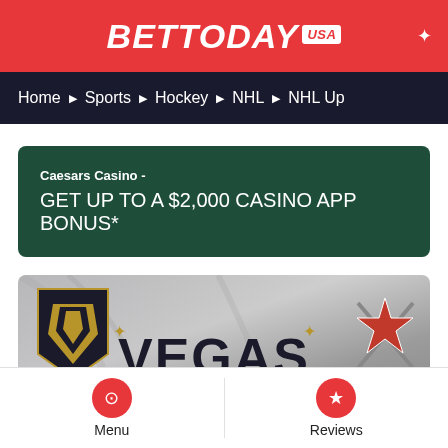BETTODAY USA
Home › Sports › Hockey › NHL › NHL Up
Caesars Casino - GET UP TO A $2,000 CASINO APP BONUS*
[Figure (photo): Vegas Golden Knights jersey/merchandise with team logo and 'VEGAS' text visible]
Menu | Reviews